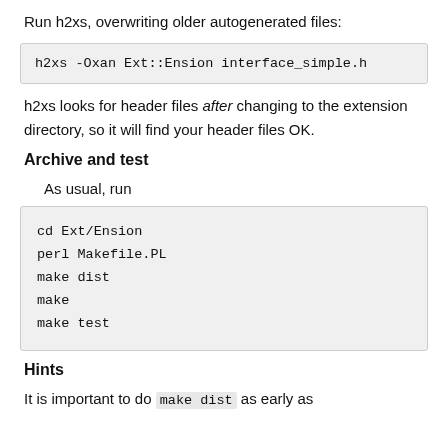Run h2xs, overwriting older autogenerated files:
h2xs -Oxan Ext::Ension interface_simple.h
h2xs looks for header files after changing to the extension directory, so it will find your header files OK.
Archive and test
As usual, run
cd Ext/Ension
perl Makefile.PL
make dist
make
make test
Hints
It is important to do make dist as early as